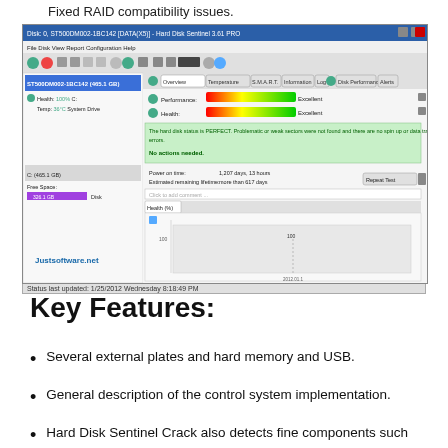Fixed RAID compatibility issues.
[Figure (screenshot): Hard Disk Sentinel PRO software screenshot showing disk health monitoring interface with performance and health indicators at 100%, disk information, health history graph, and drive details. Status bar shows 'Status last updated: 1/25/2012 Wednesday 8:18:49 PM'. Justsoftware.net watermark visible.]
Key Features:
Several external plates and hard memory and USB.
General description of the control system implementation.
Hard Disk Sentinel Crack also detects fine components such as